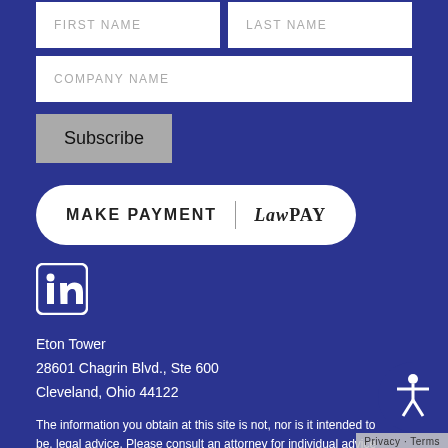FIRST NAME
LAST NAME
COMPANY NAME
Subscribe
[Figure (other): MAKE PAYMENT button with LawPay logo, white rounded rectangle on dark blue background]
[Figure (logo): LinkedIn icon in white square with rounded corners]
Eton Tower
28601 Chagrin Blvd., Ste 600
Cleveland, Ohio 44122
The information you obtain at this site is not, nor is it intended to be, legal advice. Please consult an attorney for individual advice
[Figure (other): Accessibility icon button (person with arms out) and Privacy Terms bar]
Privacy · Terms